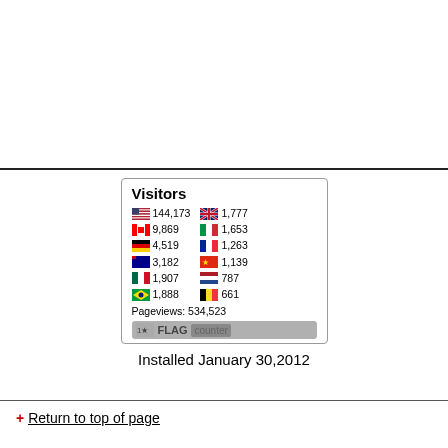[Figure (infographic): Flag Counter widget showing visitor statistics by country: US 144,173 | UK 1,777 | Canada 9,869 | Italy 1,653 | Germany 4,519 | France 1,263 | Australia 3,182 | China 1,139 | Mexico 1,907 | Netherlands 787 | Brazil 1,888 | Belgium 661 | Pageviews: 534,523. Powered by FLAG counter.]
Installed January 30,2012
Return to top of page